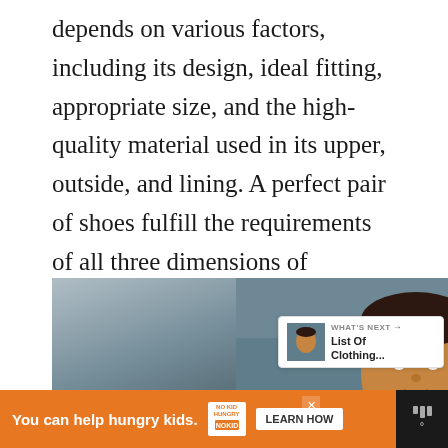depends on various factors, including its design, ideal fitting, appropriate size, and the high-quality material used in its upper, outside, and lining. A perfect pair of shoes fulfill the requirements of all three dimensions of comfort, including length, width, and size.
[Figure (photo): Advertisement image showing a young boy in a classroom setting, with a 'What's Next: List Of Clothing...' overlay panel and a close button.]
[Figure (infographic): Bottom advertisement banner: orange background reading 'You can help hungry kids.' with No Kid Hungry logo and 'LEARN HOW' button. Weather widget on right.]